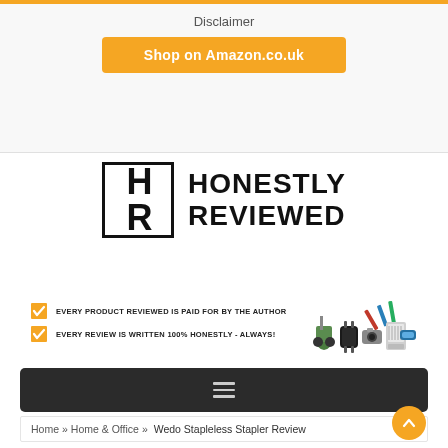Disclaimer
Shop on Amazon.co.uk
[Figure (logo): Honestly Reviewed logo with HR letters in a box and text HONESTLY REVIEWED]
EVERY PRODUCT REVIEWED IS PAID FOR BY THE AUTHOR
EVERY REVIEW IS WRITTEN 100% HONESTLY - ALWAYS!
[Figure (photo): Various product images including lawn mower, tools, air conditioner, and inflatable bed]
Home » Home & Office » Wedo Stapleless Stapler Review